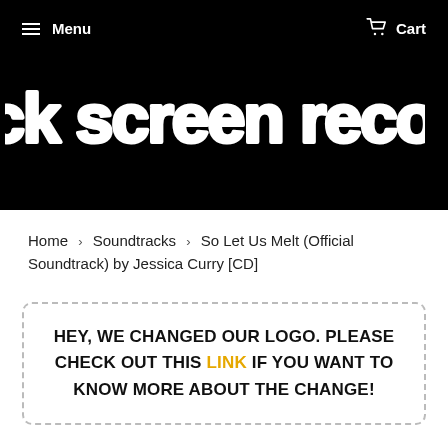Menu  Cart
[Figure (logo): Black Screen Records logo — white bubbly/rounded text on black background reading 'black screen records']
Home > Soundtracks > So Let Us Melt (Official Soundtrack) by Jessica Curry [CD]
HEY, WE CHANGED OUR LOGO. PLEASE CHECK OUT THIS LINK IF YOU WANT TO KNOW MORE ABOUT THE CHANGE!